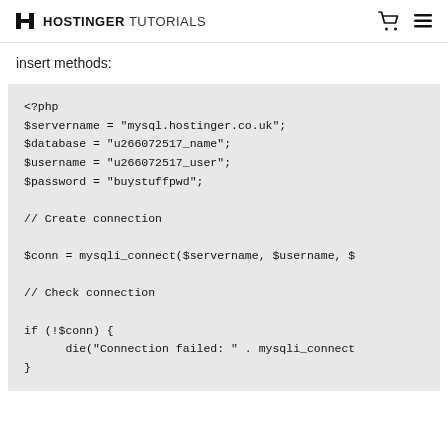HOSTINGER TUTORIALS
insert methods:
[Figure (screenshot): PHP code block showing database connection setup with servername, database, username, password variables, mysqli_connect call, and connection check with die() on failure]